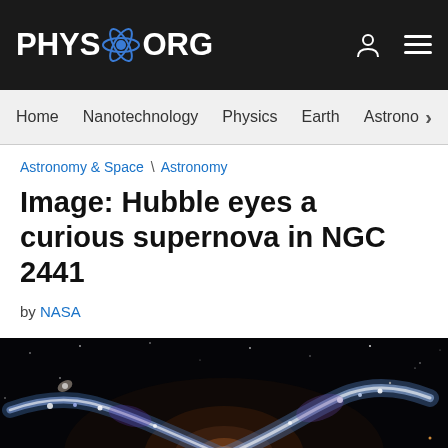PHYS.ORG
Home  Nanotechnology  Physics  Earth  Astronomy
Astronomy & Space \ Astronomy
Image: Hubble eyes a curious supernova in NGC 2441
by NASA
[Figure (photo): Hubble Space Telescope image of galaxy NGC 2441 showing spiral galaxy structure with blue star-forming regions against deep black space background]